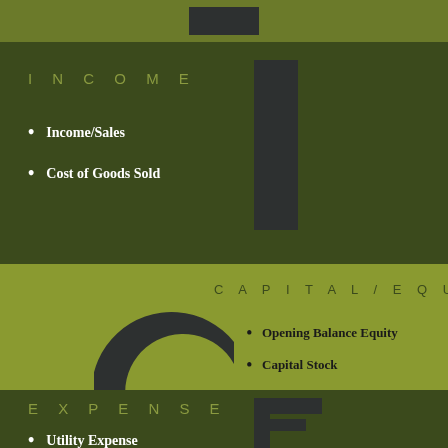[Figure (illustration): Top decorative bar with letter I graphic element in dark color on olive green background]
INCOME
Income/Sales
Cost of Goods Sold
CAPITAL/EQUITY
[Figure (illustration): Large letter C graphic in dark color on olive/yellow-green background]
Opening Balance Equity
Capital Stock
Retained Earnings
EXPENSE
Utility Expense
[Figure (illustration): Letter E/F bar graphic element in dark color on dark olive background]